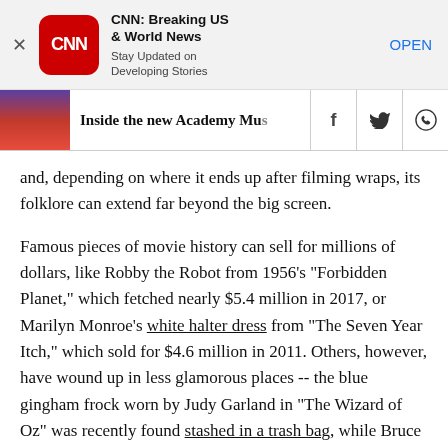[Figure (screenshot): CNN app advertisement banner with CNN logo, title 'CNN: Breaking US & World News', subtitle 'Stay Updated on Developing Stories', and OPEN button]
[Figure (screenshot): Article navigation bar showing thumbnail of ruby slippers, headline 'Inside the new Academy Mu...', and social sharing icons for Facebook, Twitter, WhatsApp]
and, depending on where it ends up after filming wraps, its folklore can extend far beyond the big screen.
Famous pieces of movie history can sell for millions of dollars, like Robby the Robot from 1956's "Forbidden Planet," which fetched nearly $5.4 million in 2017, or Marilyn Monroe's white halter dress from "The Seven Year Itch," which sold for $4.6 million in 2011. Others, however, have wound up in less glamorous places -- the blue gingham frock worn by Judy Garland in "The Wizard of Oz" was recently found stashed in a trash bag, while Bruce the Shark from "Jaws" spent many years in a California junkyard.